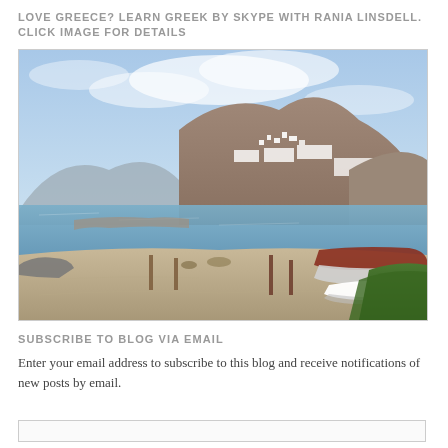LOVE GREECE? LEARN GREEK BY SKYPE WITH RANIA LINSDELL. CLICK IMAGE FOR DETAILS
[Figure (photo): Photograph of a Greek island beach scene with boats on sandy shore, calm blue sea, and a rocky hillside town with white buildings in the background under a hazy sky. Green grass patch in foreground right.]
SUBSCRIBE TO BLOG VIA EMAIL
Enter your email address to subscribe to this blog and receive notifications of new posts by email.